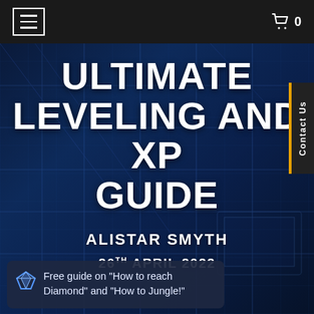Navigation bar with hamburger menu and cart icon (0)
ULTIMATE LEVELING AND XP GUIDE
ALISTAR SMYTH
26TH APRIL 2022
Contact Us
Free guide on “How to reach Diamond” and “How to Jungle!”